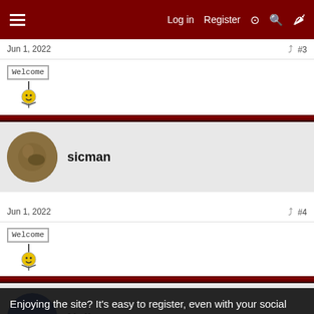Log in  Register
Jun 1, 2022   #3
[Figure (illustration): Welcome sign with smiley face stick figure holding it]
sicman
Jun 1, 2022   #4
[Figure (illustration): Welcome sign with smiley face stick figure holding it]
Nulle
Enjoying the site? It's easy to register, even with your social media login! And you will be able to access more content. Click Here to register now!